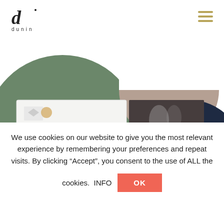[Figure (logo): Dunin brand logo with stylized 'd' icon and 'dunin' text below]
[Figure (illustration): Decorative circles (green, taupe, navy) with catalog/brochure photo mockups showing tile patterns and interior design]
We use cookies on our website to give you the most relevant experience by remembering your preferences and repeat visits. By clicking “Accept”, you consent to the use of ALL the cookies.  INFO  OK